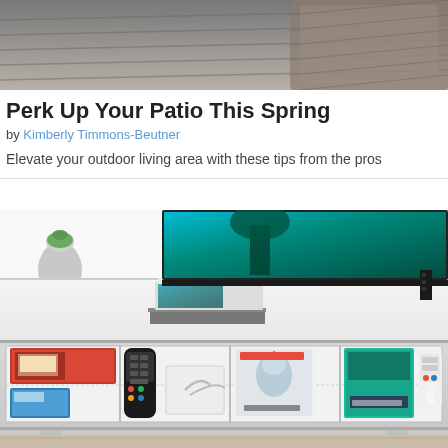[Figure (photo): Top photo showing outdoor patio furniture — wicker chairs and cushions on a deck]
Perk Up Your Patio This Spring
by Kimberly Timmons-Beutner
Elevate your outdoor living area with these tips from the pros
[Figure (photo): Interior photo showing a white media console with open drawer containing game boxes, remote controls, Wii accessories, and a TV on top displaying a teal/green nature scene]